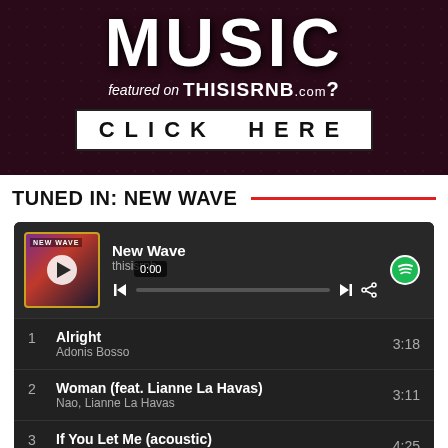[Figure (screenshot): Promotional banner with text 'MUSIC featured on THISISRNB.com? CLICK HERE' on dark red/burgundy background with dot pattern]
TUNED IN: NEW WAVE
[Figure (screenshot): Spotify playlist widget showing 'New Wave' playlist by thisisrnb, with track listing: 1. Alright - Adonis Bosso (3:18), 2. Woman (feat. Lianne La Havas) - Nao, Lianne La Havas (3:11), 3. If You Let Me (acoustic) - Sinéad Harnett (4:25)]